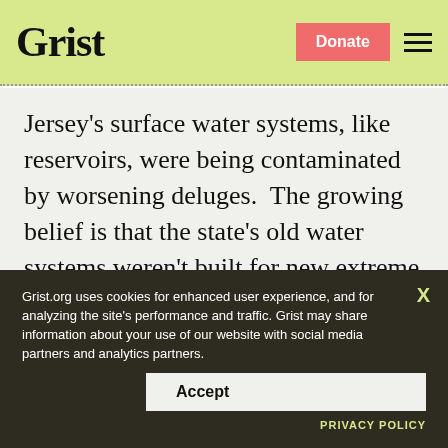Grist
Jersey's surface water systems, like reservoirs, were being contaminated by worsening deluges.  The growing belief is that the state's old water systems weren't built for new extreme rain — and that this is what gave New Jersey residents, and kids under five especially, the kind of diarrhea
Grist.org uses cookies for enhanced user experience, and for analyzing the site's performance and traffic. Grist may share information about your use of our website with social media partners and analytics partners.
Accept
PRIVACY POLICY